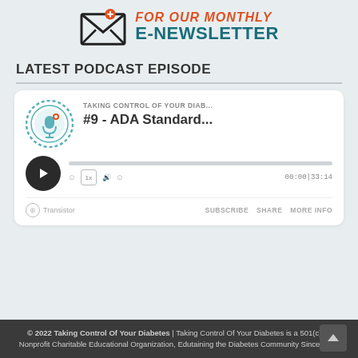[Figure (illustration): Email envelope icon with orange and teal banner text reading FOR OUR MONTHLY E-NEWSLETTER]
LATEST PODCAST EPISODE
[Figure (screenshot): Podcast player card showing 'Taking Control of Your Diab...' show with episode '#9 - ADA Standard...' Play button, progress bar, controls (rewind 10, 1x speed, volume, forward 30), time 00:00|33:14, Transistor branding, SUBSCRIBE / SHARE / MORE INFO buttons]
© 2022 Taking Control Of Your Diabetes | Taking Control Of Your Diabetes is a 501(c)(3) Nonprofit Charitable Educational Organization, Edutaining the Diabetes Community Since 1995